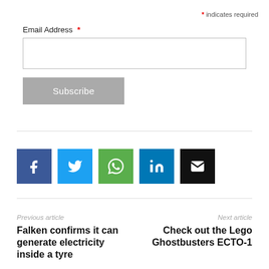* indicates required
Email Address *
Subscribe
[Figure (infographic): Row of five social media share buttons: Facebook (blue), Twitter (light blue), WhatsApp (green), LinkedIn (dark blue), Email (black)]
Previous article
Next article
Falken confirms it can generate electricity inside a tyre
Check out the Lego Ghostbusters ECTO-1